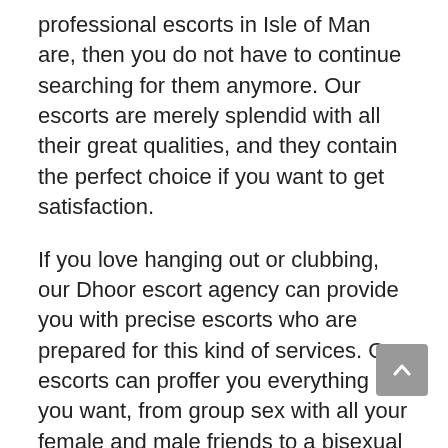professional escorts in Isle of Man are, then you do not have to continue searching for them anymore. Our escorts are merely splendid with all their great qualities, and they contain the perfect choice if you want to get satisfaction.
If you love hanging out or clubbing, our Dhoor escort agency can provide you with precise escorts who are prepared for this kind of services. Our escorts can proffer you everything you want, from group sex with all your female and male friends to a bisexual experience and so much more. Your wishes are our escorts' primary aim, so prove yourself physically as a man and let them get to know that you are a real man, with a dominant attitude.